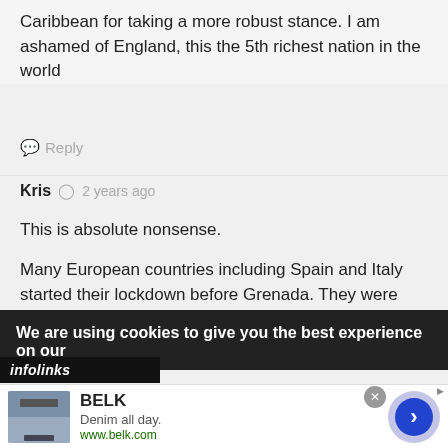Caribbean for taking a more robust stance. I am ashamed of England, this the 5th richest nation in the world
Reply
Kris  2 years ago
This is absolute nonsense.
Many European countries including Spain and Italy started their lockdown before Grenada. They were just unfortunate to have a large portion of their population infected before other countries. The main reasons
We are using cookies to give you the best experience on our
infolinks
[Figure (other): BELK advertisement with denim clothing image, tagline 'Denim all day.' and URL www.belk.com, with navigation arrow]